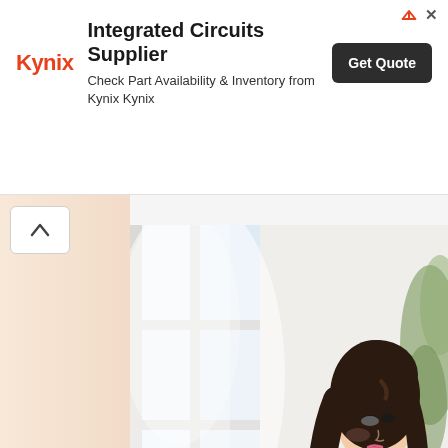[Figure (other): Kynix advertisement banner with logo, 'Integrated Circuits Supplier' headline, subtitle 'Check Part Availability & Inventory from Kynix Kynix', and a dark 'Get Quote' button. Small ad icons (arrow and X) in top-right corner.]
[Figure (photo): Photo of a young Asian woman with long dark hair, wearing a white cardigan over a colorful patterned crop top, looking upward toward a bright window. Background is bright white with soft natural light. Plant visible at the right edge.]